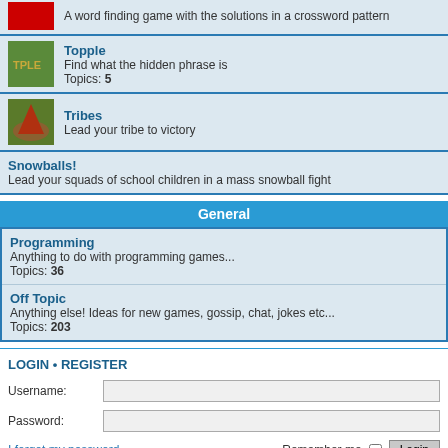A word finding game with the solutions in a crossword pattern
Topple
Find what the hidden phrase is
Topics: 5
Tribes
Lead your tribe to victory
Snowballs!
Lead your squads of school children in a mass snowball fight
General
Programming
Anything to do with programming games...
Topics: 36
Off Topic
Anything else! Ideas for new games, gossip, chat, jokes etc...
Topics: 203
LOGIN • REGISTER
Username:
Password:
I forgot my password
Remember me
Login
WHO IS ONLINE